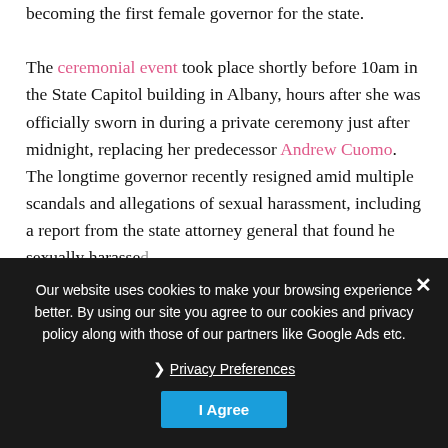becoming the first female governor for the state.
The ceremonial event took place shortly before 10am in the State Capitol building in Albany, hours after she was officially sworn in during a private ceremony just after midnight, replacing her predecessor Andrew Cuomo. The longtime governor recently resigned amid multiple scandals and allegations of sexual harassment, including a report from the state attorney general that found he sexually harassed...
"I want ... Hochul said during a b... after she was sworn in. "Our strength comes from the faith and the confidence of the people who put us in these offices, and I take that very seriously."
Our website uses cookies to make your browsing experience better. By using our site you agree to our cookies and privacy policy along with those of our partners like Google Ads etc.
Privacy Preferences
I Agree